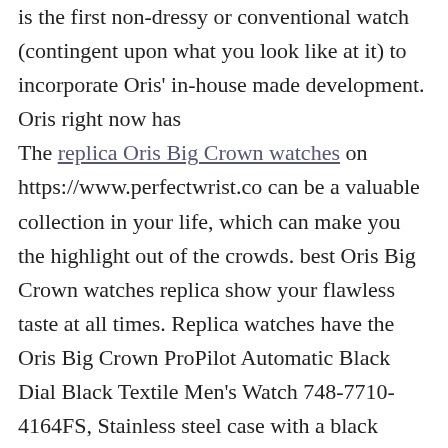is the first non-dressy or conventional watch (contingent upon what you look like at it) to incorporate Oris' in-house made development. Oris right now has The replica Oris Big Crown watches on https://www.perfectwrist.co can be a valuable collection in your life, which can make you the highlight out of the crowds. best Oris Big Crown watches replica show your flawless taste at all times. Replica watches have the Oris Big Crown ProPilot Automatic Black Dial Black Textile Men's Watch 748-7710-4164FS, Stainless steel case with a black textile bracelet. Fixed stainless steel bezel. Black dial with luminous silver-tone hands and Arabic numeral hour markers. Angus Davies had an enjoyable week wearing the